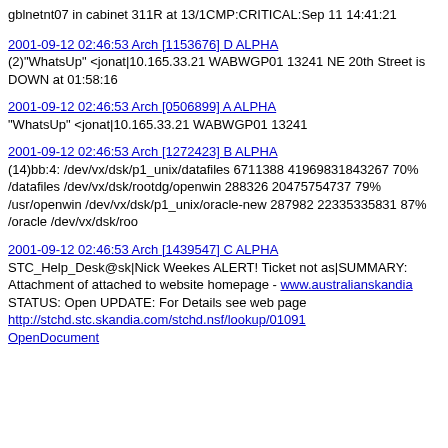gblnetnt07 in cabinet 311R at 13/1CMP:CRITICAL:Sep 11 14:41:21
2001-09-12 02:46:53 Arch [1153676] D ALPHA
(2)"WhatsUp" <jonat|10.165.33.21 WABWGP01 13241 NE 20th Street is DOWN at 01:58:16
2001-09-12 02:46:53 Arch [0506899] A ALPHA
"WhatsUp" <jonat|10.165.33.21 WABWGP01 13241
2001-09-12 02:46:53 Arch [1272423] B ALPHA
(14)bb:4: /dev/vx/dsk/p1_unix/datafiles 6711388 41969831843267 70% /datafiles /dev/vx/dsk/rootdg/openwin 288326 20475754737 79% /usr/openwin /dev/vx/dsk/p1_unix/oracle-new 287982 22335335831 87% /oracle /dev/vx/dsk/roo
2001-09-12 02:46:53 Arch [1439547] C ALPHA
STC_Help_Desk@sk|Nick Weekes ALERT! Ticket not as|SUMMARY: Attachment of attached to website homepage - www.australianskandia STATUS: Open UPDATE: For Details see web page http://stchd.stc.skandia.com/stchd.nsf/lookup/01091 OpenDocument